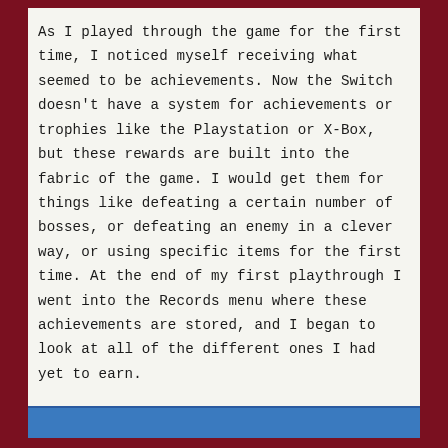As I played through the game for the first time, I noticed myself receiving what seemed to be achievements. Now the Switch doesn't have a system for achievements or trophies like the Playstation or X-Box, but these rewards are built into the fabric of the game. I would get them for things like defeating a certain number of bosses, or defeating an enemy in a clever way, or using specific items for the first time. At the end of my first playthrough I went into the Records menu where these achievements are stored, and I began to look at all of the different ones I had yet to earn.